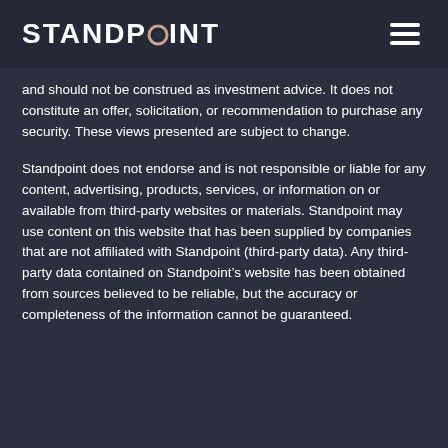STANDPOINT
and should not be construed as investment advice. It does not constitute an offer, solicitation, or recommendation to purchase any security. These views presented are subject to change.
Standpoint does not endorse and is not responsible or liable for any content, advertising, products, services, or information on or available from third-party websites or materials. Standpoint may use content on this website that has been supplied by companies that are not affiliated with Standpoint (third-party data). Any third-party data contained on Standpoint’s website has been obtained from sources believed to be reliable, but the accuracy or completeness of the information cannot be guaranteed.